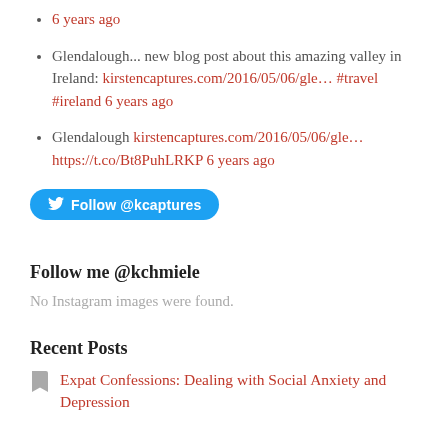6 years ago
Glendalough... new blog post about this amazing valley in Ireland: kirstencaptures.com/2016/05/06/gle... #travel #ireland 6 years ago
Glendalough kirstencaptures.com/2016/05/06/gle... https://t.co/Bt8PuhLRKP 6 years ago
[Figure (other): Twitter Follow @kcaptures button]
Follow me @kchmiele
No Instagram images were found.
Recent Posts
Expat Confessions: Dealing with Social Anxiety and Depression